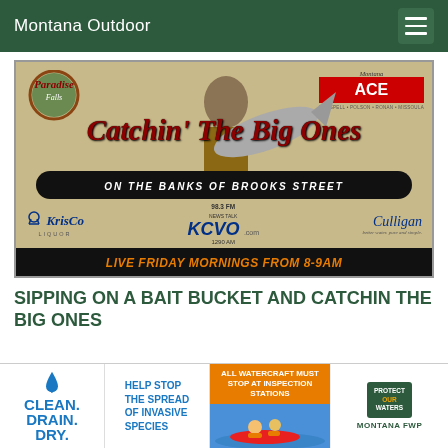Montana Outdoor
[Figure (photo): Banner advertisement for 'Catchin' The Big Ones on the Banks of Brooks Street' fishing show, featuring Paradise Falls, Montana ACE Hardware, KrisCo Liquor, KCVO 98.3 FM / 1290 AM, and Culligan. Live Friday Mornings from 8-9AM. Shows a man holding a large fish.]
SIPPING ON A BAIT BUCKET AND CATCHIN THE BIG ONES
[Figure (infographic): Clean. Drain. Dry. - Help Stop The Spread Of Invasive Species. All Watercraft Must Stop At Inspection Stations. Protect Our Waters - Montana FWP.]